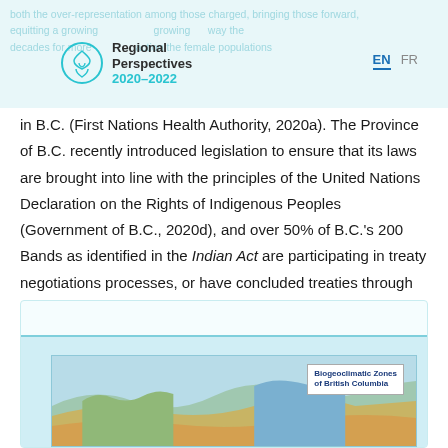both the over-representation among those charged, equipping a growing way the growing decades for more action the female populations — Regional Perspectives 2020–2022 | EN | FR
in B.C. (First Nations Health Authority, 2020a). The Province of B.C. recently introduced legislation to ensure that its laws are brought into line with the principles of the United Nations Declaration on the Rights of Indigenous Peoples (Government of B.C., 2020d), and over 50% of B.C.'s 200 Bands as identified in the Indian Act are participating in treaty negotiations processes, or have concluded treaties through such processes (B.C. Treaty Commission, 2020).
Figure 5.1
[Figure (map): Biogeoclimatic Zones of British Columbia — partial map view showing coloured zones of British Columbia]